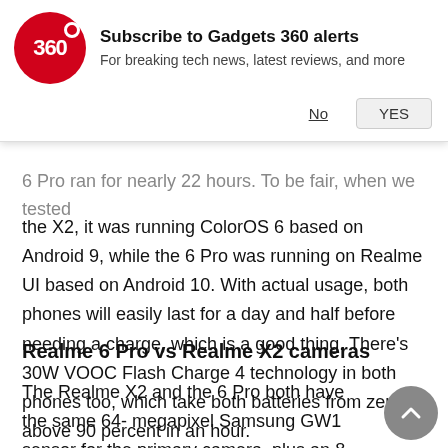[Figure (logo): Gadgets 360 red circular logo with '360' text in white]
Subscribe to Gadgets 360 alerts
For breaking tech news, latest reviews, and more
No  YES
6 Pro ran for nearly 22 hours. To be fair, when we tested the X2, it was running ColorOS 6 based on Android 9, while the 6 Pro was running on Realme UI based on Android 10. With actual usage, both phones will easily last for a day and half before needing a charge, which is a good thing. There's 30W VOOC Flash Charge 4 technology in both phones too, which take both batteries from zero to above 90 percent in an hour.
Realme 6 Pro vs Realme X2 cameras
The Realme X2 and the 6 Pro both have the same 64-megapixel Samsung GW1 sensor for the primary camera, plus an 8-megapixel wide-angle camera and a